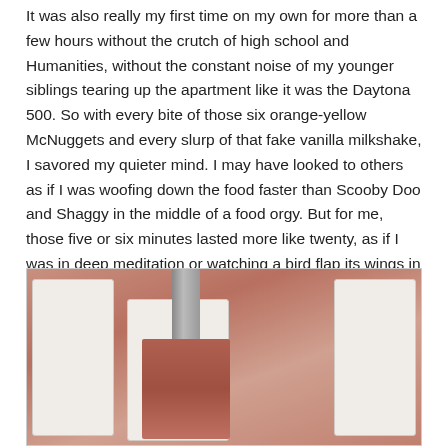It was also really my first time on my own for more than a few hours without the crutch of high school and Humanities, without the constant noise of my younger siblings tearing up the apartment like it was the Daytona 500. So with every bite of those six orange-yellow McNuggets and every slurp of that fake vanilla milkshake, I savored my quieter mind. I may have looked to others as if I was woofing down the food faster than Scooby Doo and Shaggy in the middle of a food orgy. But for me, those five or six minutes lasted more like twenty, as if I was in deep meditation or watching a bird flap its wings in slow-motion.
[Figure (photo): Close-up photo of pink processed meat paste being extruded or transferred between white plastic containers, with a metal tool or nozzle visible.]